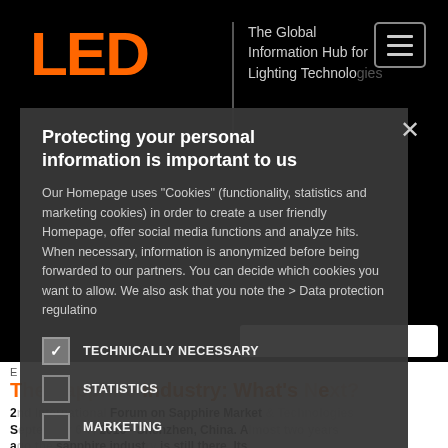[Figure (screenshot): LED professional website header with orange LED logo, tagline 'The Global Information Hub for Lighting Technologies', and hamburger menu icon on black background]
Protecting your personal information is important to us
Our Homepage uses "Cookies" (functionality, statistics and marketing cookies) in order to create a user friendly Homepage, offer social media functions and analyze hits. When necessary, information is anonymized before being forwarded to our partners. You can decide which cookies you want to allow. We also ask that you note the > Data protection regulatino
TECHNICALLY NECESSARY
STATISTICS
MARKETING
FUNCTIONALITY
The Sapphire Industry: What's Next?
2 Forum on Sapphire Market & Technologies September 6-7, 2016 - Shenzhen, China. Almost two years a the sapphire industry is still there. Its decor and characters have, of course, changed but the story is still continuing. Semiconductor business momentum continuation